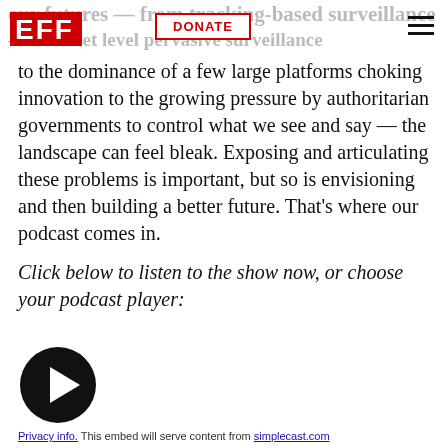EFF logo | DONATE | hamburger menu
to the dominance of a few large platforms choking innovation to the growing pressure by authoritarian governments to control what we see and say — the landscape can feel bleak. Exposing and articulating these problems is important, but so is envisioning and then building a better future. That's where our podcast comes in.
Click below to listen to the show now, or choose your podcast player:
[Figure (other): Play button icon — black circle with white triangle pointing right]
Privacy info. This embed will serve content from simplecast.com